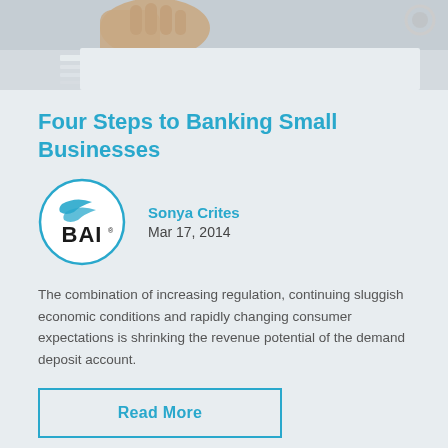[Figure (photo): Cropped photo of hands holding/reviewing documents on a desk]
Four Steps to Banking Small Businesses
[Figure (logo): BAI logo in a circle — two blue swoosh marks above bold black BAI text with registered trademark symbol]
Sonya Crites
Mar 17, 2014
The combination of increasing regulation, continuing sluggish economic conditions and rapidly changing consumer expectations is shrinking the revenue potential of the demand deposit account.
Read More